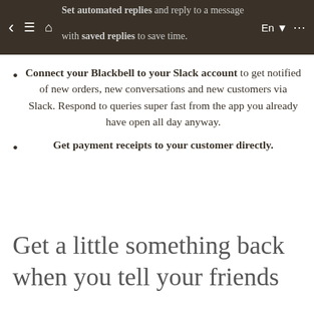Set automated replies and reply to a message with saved replies to save time.
Connect your Blackbell to your Slack account to get notified of new orders, new conversations and new customers via Slack. Respond to queries super fast from the app you already have open all day anyway.
Get payment receipts to your customer directly.
Get a little something back when you tell your friends